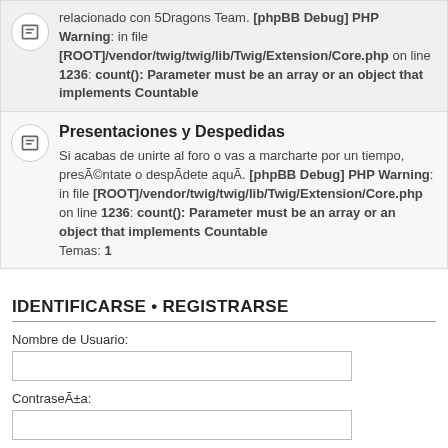relacionado con 5Dragons Team. [phpBB Debug] PHP Warning: in file [ROOT]/vendor/twig/twig/lib/Twig/Extension/Core.php on line 1236: count(): Parameter must be an array or an object that implements Countable
Presentaciones y Despedidas
Si acabas de unirte al foro o vas a marcharte por un tiempo, presÃ©ntate o despÃ­dete aquÃ­. [phpBB Debug] PHP Warning: in file [ROOT]/vendor/twig/twig/lib/Twig/Extension/Core.php on line 1236: count(): Parameter must be an array or an object that implements Countable Temas: 1
IDENTIFICARSE • REGISTRARSE
Nombre de Usuario:
ContraseÃ±a:
OlvidÃ© mi contraseÃ±a
Recordar
Identificarse